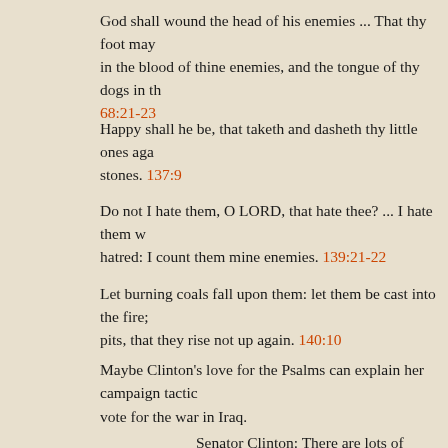God shall wound the head of his enemies ... That thy foot may be dipped in the blood of thine enemies, and the tongue of thy dogs in the same. 68:21-23
Happy shall he be, that taketh and dasheth thy little ones against the stones. 137:9
Do not I hate them, O LORD, that hate thee? ... I hate them with perfect hatred: I count them mine enemies. 139:21-22
Let burning burning coals fall upon them: let them be cast into the fire; into deep pits, that they rise not up again. 140:10
Maybe Clinton's love for the Psalms can explain her campaign tactics and her vote for the war in Iraq.
Senator Clinton: There are lots of aspects of Isaiah that I find intriguing and provocative.
Me too. Here are a few "intriguing and provacative" verses from Isaiah:
As for my people, children are their oppressors, and women rule over them. Isaiah 3:12